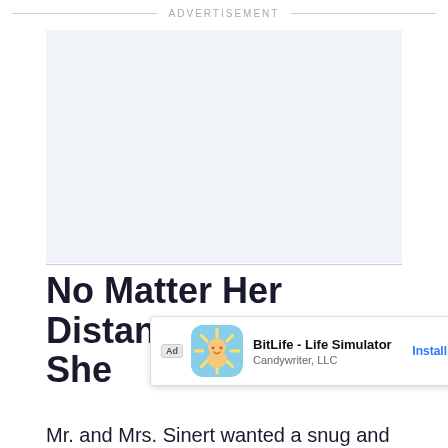ADVERTISEMENT
[Figure (other): Empty advertisement space with light blue-grey background]
No Matter Her Distant Past, She [...]ert
Mr. and Mrs. Sinert wanted a snug and
[Figure (other): Overlay app advertisement for BitLife - Life Simulator by Candywriter, LLC with Install button]